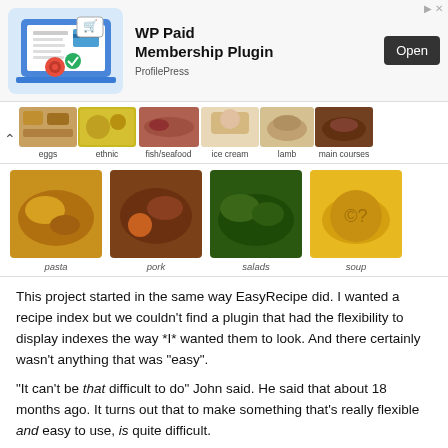[Figure (screenshot): WP Paid Membership Plugin advertisement banner by ProfilePress with Open button]
[Figure (screenshot): Horizontal scrollable food category thumbnails: eggs, ethnic, fish/seafood, ice cream, lamb, main courses]
[Figure (screenshot): Food category thumbnail grid: pasta, pork, salads, soup]
This project started in the same way EasyRecipe did. I wanted a recipe index but we couldn't find a plugin that had the flexibility to display indexes the way *I* wanted them to look. And there certainly wasn't anything that was "easy".
"It can't be that difficult to do" John said. He said that about 18 months ago. It turns out that to make something that's really flexible and easy to use, is quite difficult.